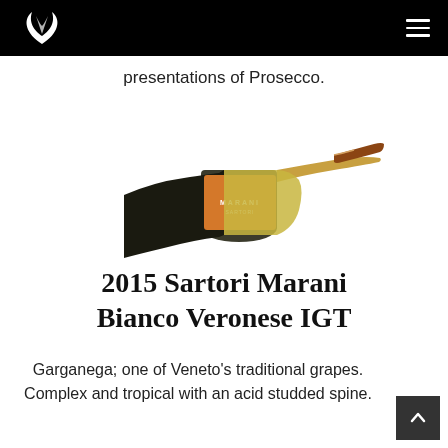Navigation bar with logo and hamburger menu
presentations of Prosecco.
[Figure (photo): A wine bottle of 2015 Sartori Marani Bianco Veronese IGT lying at an angle, showing an orange and yellow label with gold foil top.]
2015 Sartori Marani Bianco Veronese IGT
Garganega; one of Veneto's traditional grapes. Complex and tropical with an acid studded spine.